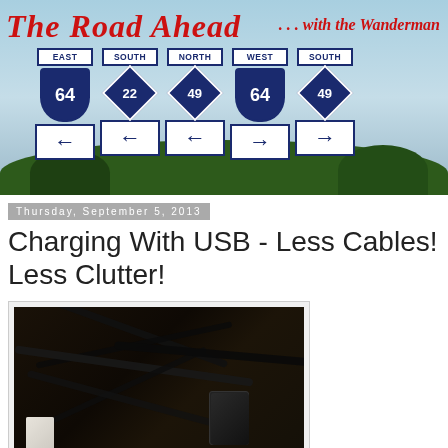[Figure (photo): The Road Ahead blog banner with road direction signs showing EAST/SOUTH/NORTH/WEST/SOUTH with route numbers 64, 22, 49, 64, 49 and arrows pointing left and right. Title text 'The Road Ahead' in red italic and '...with the Wanderman' in red italic on the right.]
Thursday, September 5, 2013
Charging With USB - Less Cables! Less Clutter!
[Figure (photo): Photo of tangled USB cables and power adapters/chargers in a messy pile on a dark surface]